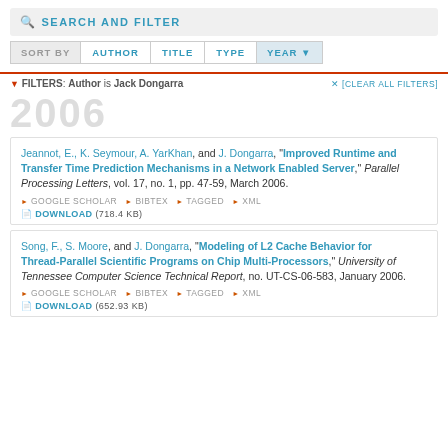SEARCH AND FILTER
SORT BY  AUTHOR  TITLE  TYPE  YEAR
FILTERS: Author is Jack Dongarra  ×[CLEAR ALL FILTERS]
2006
Jeannot, E., K. Seymour, A. YarKhan, and J. Dongarra, "Improved Runtime and Transfer Time Prediction Mechanisms in a Network Enabled Server," Parallel Processing Letters, vol. 17, no. 1, pp. 47-59, March 2006.
GOOGLE SCHOLAR  BIBTEX  TAGGED  XML  DOWNLOAD (718.4 KB)
Song, F., S. Moore, and J. Dongarra, "Modeling of L2 Cache Behavior for Thread‑Parallel Scientific Programs on Chip Multi‑Processors," University of Tennessee Computer Science Technical Report, no. UT-CS-06-583, January 2006.
GOOGLE SCHOLAR  BIBTEX  TAGGED  XML  DOWNLOAD (652.93 KB)